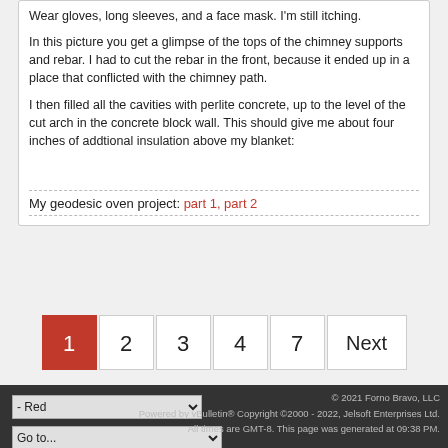Wear gloves, long sleeves, and a face mask. I'm still itching.
In this picture you get a glimpse of the tops of the chimney supports and rebar. I had to cut the rebar in the front, because it ended up in a place that conflicted with the chimney path.
I then filled all the cavities with perlite concrete, up to the level of the cut arch in the concrete block wall. This should give me about four inches of addtional insulation above my blanket:
My geodesic oven project: part 1, part 2
[Figure (screenshot): Pagination controls showing page buttons: 1 (active, red background), 2, 3, 4, 7, and Next]
[Figure (screenshot): Dark footer bar with two dropdown selects: '- Red' and 'Go to...']
© 2021 Forno Bravo, LLC
Powered by vBulletin® Copyright ©2000 - 2022, Jelsoft Enterprises Ltd.
All times are GMT-8. This page was generated at 09:38 PM.